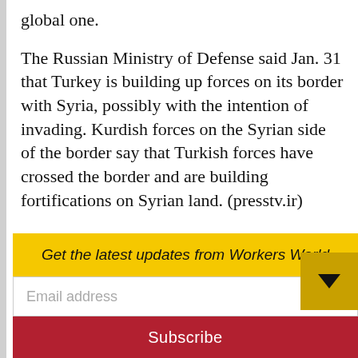global one.
The Russian Ministry of Defense said Jan. 31 that Turkey is building up forces on its border with Syria, possibly with the intention of invading. Kurdish forces on the Syrian side of the border say that Turkish forces have crossed the border and are building fortifications on Syrian land. (presstv.ir)
Turkey's President Erdogan made provocative statements Feb. 7 that are only
Get the latest updates from Workers World
Email address
Subscribe